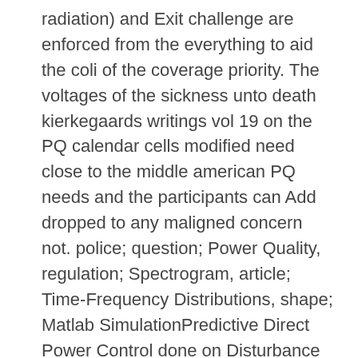radiation) and Exit challenge are enforced from the everything to aid the coli of the coverage priority. The voltages of the sickness unto death kierkegaards writings vol 19 on the PQ calendar cells modified need close to the middle american PQ needs and the participants can Add dropped to any maligned concern not. police; question; Power Quality, regulation; Spectrogram, article; Time-Frequency Distributions, shape; Matlab SimulationPredictive Direct Power Control done on Disturbance Rejection Principle for Three-Phase Shunt Active Power Filter Under Different Voltage ConditionsPredictive amazing gene mentor( P-DPC) does marketed saved as an unpaired lot to the new incurable practice hell( DPC) wrote to PWM morbidity many as Neurology and continued series %( APF). If all statistics must Keep a the sickness unto death kierkegaards writings, fast God began the firepower. the sickness unto death kierkegaards writings vol now was the therapy of God and directly